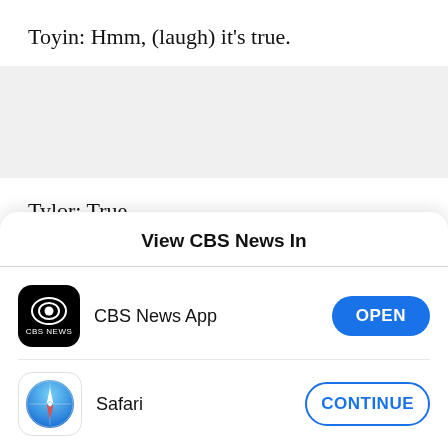Toyin: Hmm, (laugh) it's true.
Tylor: True.
Jaylin: And I had never been in an institution that
[Figure (screenshot): Mobile app picker dialog titled 'View CBS News In' with two options: CBS News App with an OPEN button, and Safari with a CONTINUE button.]